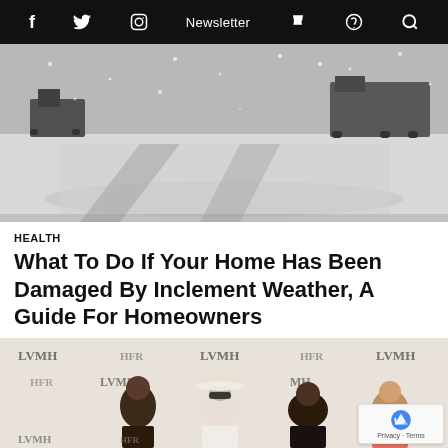f  Twitter  Instagram  Newsletter  cart  podcast  search
[Figure (photo): Snowy road with vehicles during a winter storm, heavy snowfall, trucks visible in background]
HEALTH
What To Do If Your Home Has Been Damaged By Inclement Weather, A Guide For Homeowners
[Figure (photo): Group photo of four people posing in front of an LVMH and HFR branded step-and-repeat backdrop at an event]